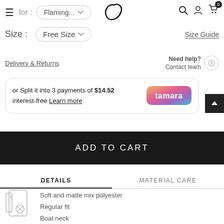Color: Flaming... | Logo | Search | Account | Cart 0
Size : Free Size
Size Guide
Delivery & Returns
Need help? Contact team
or Split it into 3 payments of $14.52 interest-free Learn more
ADD TO CART
DETAILS
MATERIAL CARE
Soft and matte mix polyester
Regular fit
Boat neck